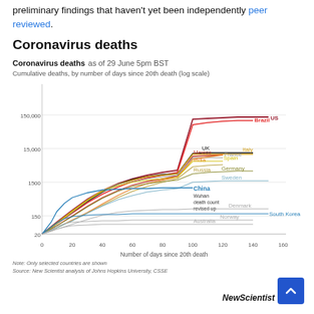preliminary findings that haven't yet been independently peer reviewed.
Coronavirus deaths
[Figure (line-chart): Coronavirus deaths as of 29 June 5pm BST]
Note: Only selected countries are shown
Source: New Scientist analysis of Johns Hopkins University, CSSE
NewScientist